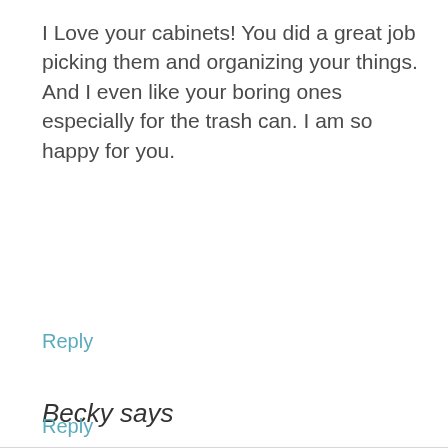I Love your cabinets! You did a great job picking them and organizing your things. And I even like your boring ones especially for the trash can. I am so happy for you.
Reply
Becky says
We use cookies to give you the best experience on our website.
Learn more about which cookies we use, or switch them off in settings.
Accept
Reply